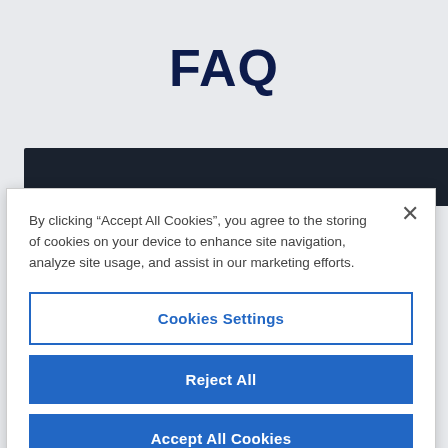FAQ
[Figure (screenshot): Dark navigation bar partial screenshot behind the cookie modal]
By clicking “Accept All Cookies”, you agree to the storing of cookies on your device to enhance site navigation, analyze site usage, and assist in our marketing efforts.
Cookies Settings
Reject All
Accept All Cookies